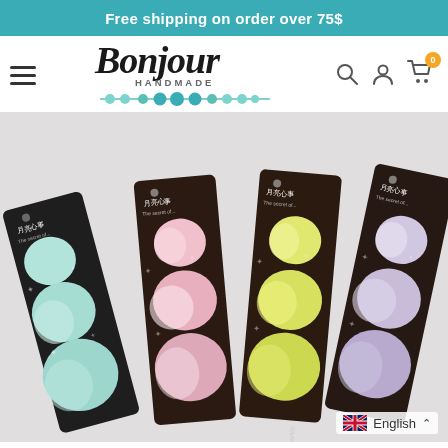Free shipping on order over 75$
[Figure (logo): Bonjour Handmade logo with decorative bead strand and navigation icons including hamburger menu, search, account, and cart with 0 badge]
[Figure (photo): Four strips of circular moon-themed sticky notes in pastel colors: mint/teal, pink/white marble, yellow/green, and lavender/purple, displayed on dark brown/black cardboard packaging with Japanese text and star decorations]
English